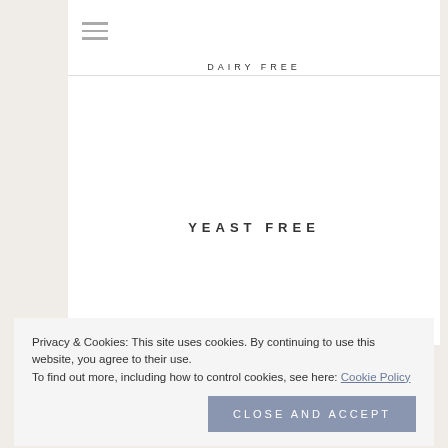DAIRY FREE
YEAST FREE
Privacy & Cookies: This site uses cookies. By continuing to use this website, you agree to their use.
To find out more, including how to control cookies, see here: Cookie Policy
Close and accept